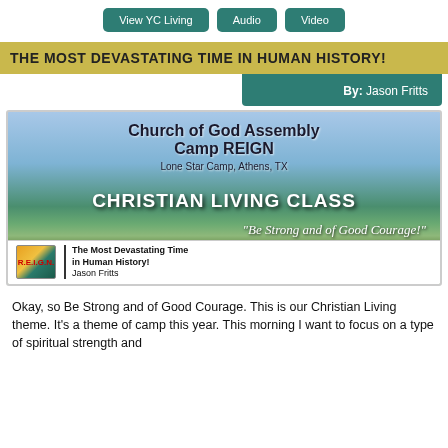View YC Living
Audio
Video
THE MOST DEVASTATING TIME IN HUMAN HISTORY!
By: Jason Fritts
[Figure (photo): Church of God Assembly Camp REIGN at Lone Star Camp, Athens TX. Christian Living Class banner with quote 'Be Strong and of Good Courage!' Joshua 1:9. The Most Devastating Time in Human History by Jason Fritts.]
Okay, so Be Strong and of Good Courage. This is our Christian Living theme. It's a theme of camp this year. This morning I want to focus on a type of spiritual strength and